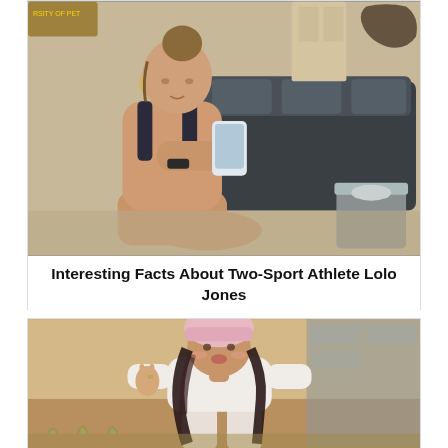[Figure (photo): A fit woman in athletic wear (sports bra top) sitting on the floor looking at her phone, indoors with a dark sofa and decorative elements in the background.]
Interesting Facts About Two-Sport Athlete Lolo Jones
[Figure (photo): A young woman wearing a pink beanie hat and white long-sleeve top, making a peace sign, standing outdoors with a warm-toned background.]